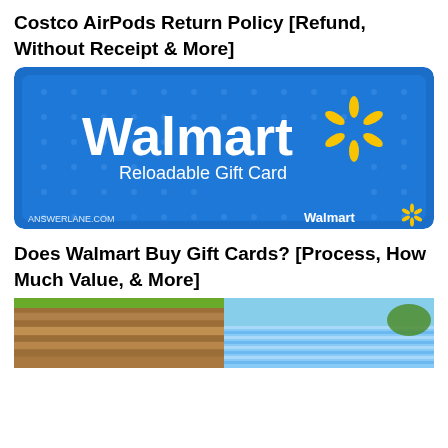Costco AirPods Return Policy [Refund, Without Receipt & More]
[Figure (photo): Walmart Reloadable Gift Card on blue background with Walmart logo and spark symbol, watermark ANSWERLANE.COM at bottom left]
Does Walmart Buy Gift Cards? [Process, How Much Value, & More]
[Figure (photo): Bottom portion of a building exterior showing wood paneling on left and a Walmart store exterior on right with blue wall and horizontal venting slats]